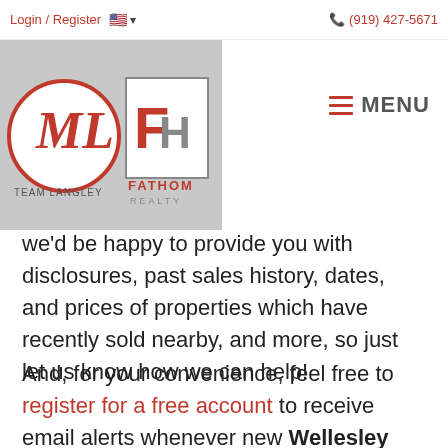Login / Register   🇺🇸 ▾   (919) 427-5671
[Figure (logo): Team Langley and Fathom Realty logos on gray background]
we'd be happy to provide you with disclosures, past sales history, dates, and prices of properties which have recently sold nearby, and more, so just let us know how we can help!
And, for your convenience, feel free to register for a free account to receive email alerts whenever new Wellesley listings come on the market that match your specific criteria. Search other Clayton Neighborhoods on our Clayton Subdivision page. Learn more about the town of Clayton and view all Clayton Homes for Sale on our Clayton Community page.